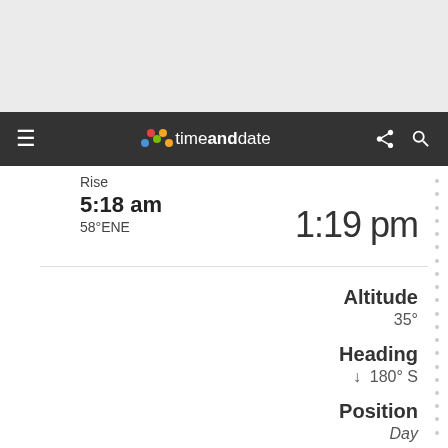[Figure (screenshot): Top grey banner area of timeanddate.com website]
timeanddate.com navigation bar with menu, logo, share and search icons
Rise
5:18 am
58°ENE
1:19 pm
Altitude
35°
Heading
↓ 180° S
Position
Day
| Day | Rise | Set | Duration | Diff | Position |
| --- | --- | --- | --- | --- | --- |
| 24 ↓ | 5:22 am ↗ | 9:14 pm ↖ | 15:52:03 | −7:31 | Rest of night |
| 25 ↓ | 5:25 am ↗ | 9:10 pm ↖ | 15:44:34 | −7:29 | Rest of night |